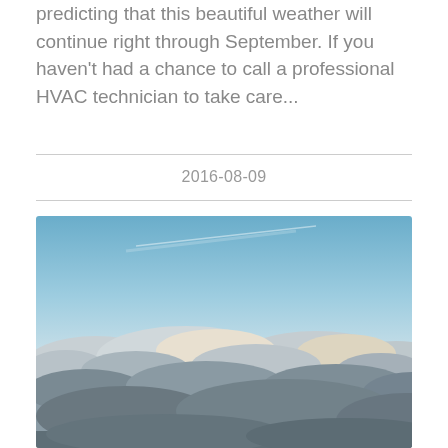predicting that this beautiful weather will continue right through September. If you haven't had a chance to call a professional HVAC technician to take care...
2016-08-09
[Figure (photo): Aerial view above clouds at sunset, showing a sea of white fluffy clouds below with a blue sky and warm orange-pink horizon glow]